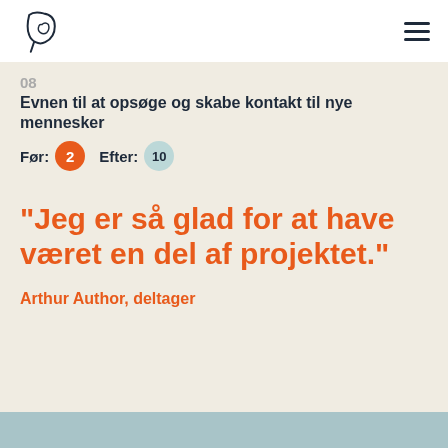logo and hamburger menu
08
Evnen til at opsøge og skabe kontakt til nye mennesker
Før: 2  Efter: 10
"Jeg er så glad for at have været en del af projektet."
Arthur Author, deltager